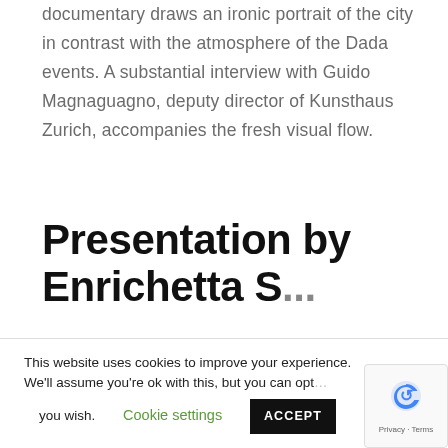documentary draws an ironic portrait of the city in contrast with the atmosphere of the Dada events. A substantial interview with Guido Magnaguagno, deputy director of Kunsthaus Zurich, accompanies the fresh visual flow.
Presentation by Enrichetta S...
This website uses cookies to improve your experience. We'll assume you're ok with this, but you can opt you wish.
Cookie settings    ACCEPT